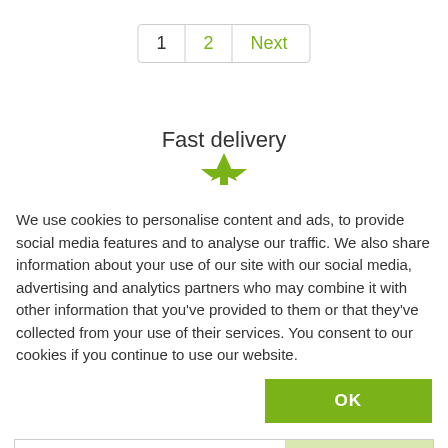[Figure (screenshot): Pagination bar with page 1, 2, and Next links]
Fast delivery
We use cookies to personalise content and ads, to provide social media features and to analyse our traffic. We also share information about your use of our site with our social media, advertising and analytics partners who may combine it with other information that you've provided to them or that they've collected from your use of their services. You consent to our cookies if you continue to use our website.
OK
Necessary  Preferences  Statistics  Marketing  Show details